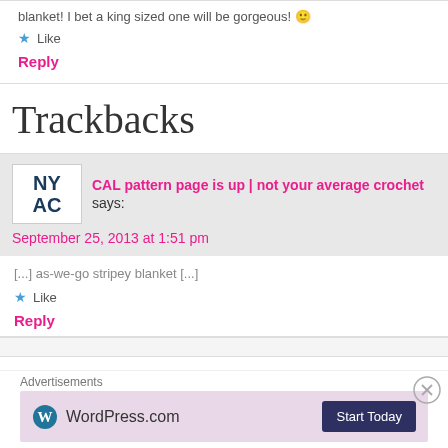blanket! I bet a king sized one will be gorgeous! 😊
★ Like
Reply
Trackbacks
[Figure (logo): NYAC logo - block letters NY over AC in dark navy on white background]
CAL pattern page is up | not your average crochet says:
September 25, 2013 at 1:51 pm
[...] as-we-go stripey blanket [...]
★ Like
Reply
Advertisements
[Figure (screenshot): WordPress.com advertisement banner with pink/lavender background showing WordPress.com logo and Start Today button]